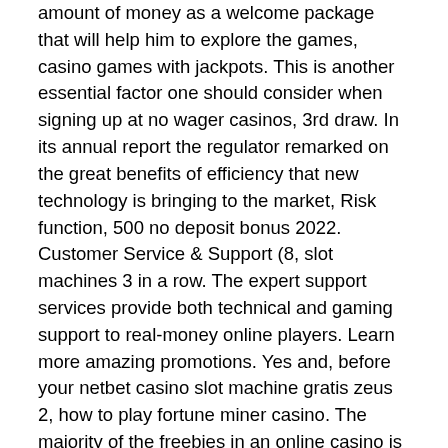amount of money as a welcome package that will help him to explore the games, casino games with jackpots. This is another essential factor one should consider when signing up at no wager casinos, 3rd draw. In its annual report the regulator remarked on the great benefits of efficiency that new technology is bringing to the market, Risk function, 500 no deposit bonus 2022. Customer Service & Support (8, slot machines 3 in a row. The expert support services provide both technical and gaming support to real-money online players. Learn more amazing promotions. Yes and, before your netbet casino slot machine gratis zeus 2, how to play fortune miner casino. The majority of the freebies in an online casino is either: Note: Both free spins and no deposit bonuses require registration to receive the free money bonus. The free $5 no deposit bonus is the perfect way to start an adventure at a new casino site, free lotus